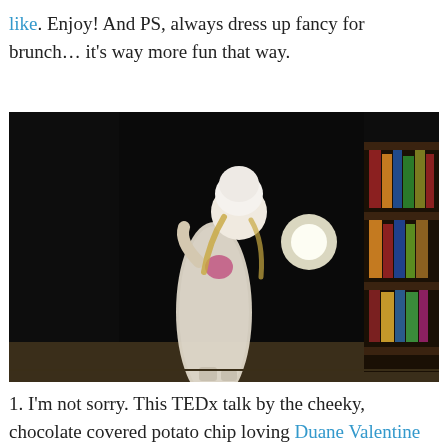like. Enjoy! And PS, always dress up fancy for brunch… it's way more fun that way.
[Figure (photo): A woman in a white sparkly long dress and white hat posing in a dark room with a bookshelf visible on the right side.]
1. I'm not sorry. This TEDx talk by the cheeky, chocolate covered potato chip loving Duane Valentine hits the nail